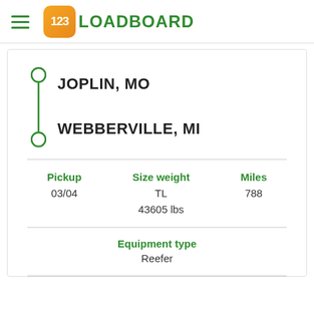[Figure (logo): 123Loadboard logo with orange rounded square containing '123' in white and 'LOADBOARD' in green text]
JOPLIN, MO
WEBBERVILLE, MI
| Pickup | Size weight | Miles |
| --- | --- | --- |
| 03/04 | TL
43605 lbs | 788 |
Equipment type
Reefer